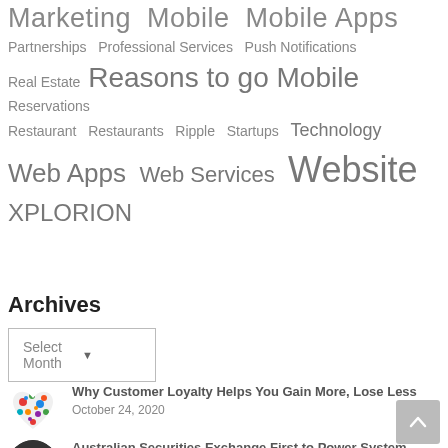Marketing Mobile Mobile Apps Partnerships Professional Services Push Notifications Real Estate Reasons to go Mobile Reservations Restaurant Restaurants Ripple Startups Technology Web Apps Web Services Website XPLORION
Archives
Select Month
Why Customer Loyalty Helps You Gain More, Lose Less October 24, 2020
Australian Securities Exchange First to Power System